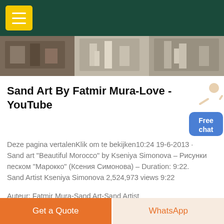[Figure (screenshot): Dark teal navigation header bar with yellow hamburger menu button]
[Figure (photo): Strip of three industrial/workshop photos side by side]
Sand Art By Fatmir Mura-Love - YouTube
[Figure (illustration): Blue rounded rectangle button with 'Free chat' text and person figure]
Deze pagina vertalenKlik om te bekijken10:24 19-6-2013 · Sand art "Beautiful Morocco" by Kseniya Simonova – Рисунки песком "Марокко" (Ксения Симонова) – Duration: 9:22. Sand Artist Kseniya Simonova 2,524,973 views 9:22
Auteur: Fatmir Mura-Sand Art-Sand Artist
GET PRICE
Get a Quote
WhatsApp